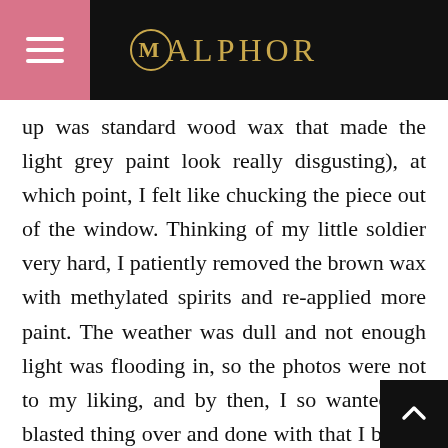MALPHOR
up was standard wood wax that made the light grey paint look really disgusting), at which point, I felt like chucking the piece out of the window. Thinking of my little soldier very hard, I patiently removed the brown wax with methylated spirits and re-applied more paint. The weather was dull and not enough light was flooding in, so the photos were not to my liking, and by then, I so wanted the blasted thing over and done with that I barely took the time to take any shots of my step-by-step progress! Learning to use my basic camera better and possibly upgrading is definitely on the cards for 2017! Anyway, I used Annie